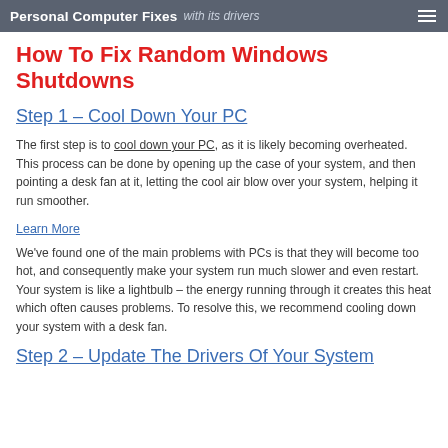Personal Computer Fixes with its drivers
How To Fix Random Windows Shutdowns
Step 1 – Cool Down Your PC
The first step is to cool down your PC, as it is likely becoming overheated. This process can be done by opening up the case of your system, and then pointing a desk fan at it, letting the cool air blow over your system, helping it run smoother.
Learn More
We've found one of the main problems with PCs is that they will become too hot, and consequently make your system run much slower and even restart. Your system is like a lightbulb – the energy running through it creates this heat which often causes problems. To resolve this, we recommend cooling down your system with a desk fan.
Step 2 – Update The Drivers Of Your System